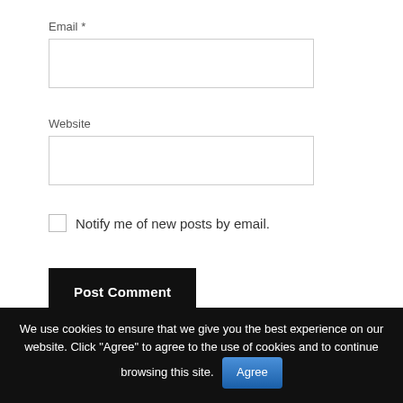Email *
[Figure (screenshot): Empty email input text field with light grey border]
Website
[Figure (screenshot): Empty website input text field with light grey border]
Notify me of new posts by email.
Post Comment
We use cookies to ensure that we give you the best experience on our website. Click "Agree" to agree to the use of cookies and to continue browsing this site. Agree